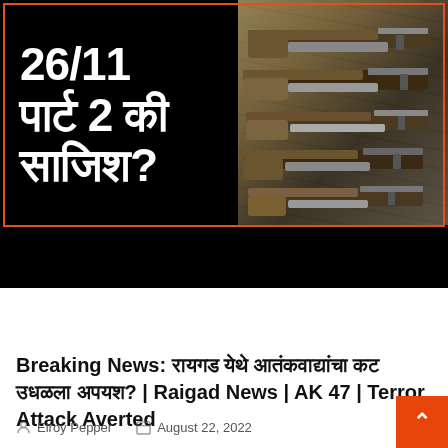[Figure (photo): News thumbnail showing Hindi text '26/11 पार्ट 2 की साजिश?' on black background with AK-47 rifles on the right side. Red border frame around image.]
Breaking News
Breaking News: रायगड येथे आतंकवाद्यांचा कट उधळला अपयश? | Raigad News | AK 47 | Terror Attack Averted
Elroy Pepper   August 22, 2022